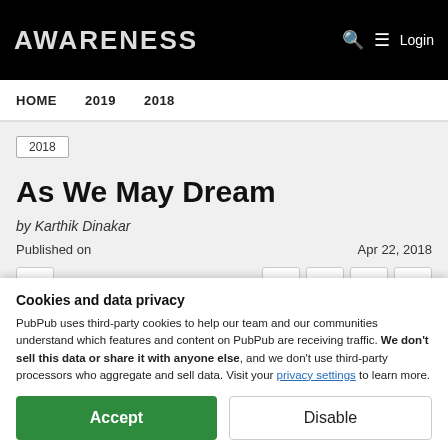AWARENESS
HOME   2019   2018
2018
As We May Dream
by Karthik Dinakar
Published on   Apr 22, 2018
Cookies and data privacy
PubPub uses third-party cookies to help our team and our communities understand which features and content on PubPub are receiving traffic. We don't sell this data or share it with anyone else, and we don't use third-party processors who aggregate and sell data. Visit your privacy settings to learn more.
Accept   Disable